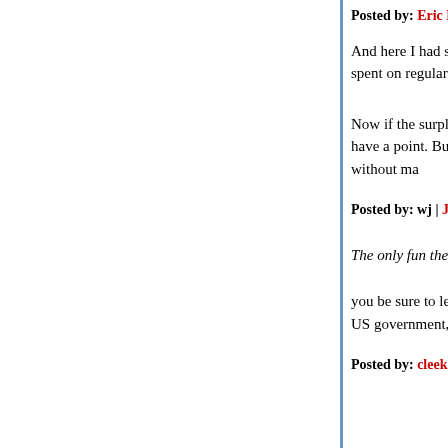Posted by: Eric Martin | June 21, 2010 at 05:09 PM
And here I had somehow gotten the impression th... economist. But obviously not. Otherwise he woul... has already been spent on regular government op... increases, or whatever) is totally irrelevant to the ... Security.
Now if the surplus payments to Social Security ha... something other than US government bonds) or a... perhaps he would have a point. But all they have ... government bonds -- which, since they will have t... means there is basically nothing there without ma...
Posted by: wj | June 21, 2010 at 05:13 PM
The only fun these folks have is playing with othe...
you be sure to let us know when you've stopped n... products and infrastructure which was built, funde... indirectly, by the US government, mm k?
Posted by: cleek | June 21, 2010 at 05:17 PM